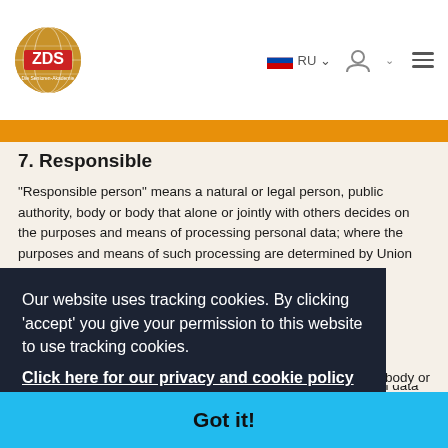ZDS Die Senioren-Akademie — RU navigation header
7. Responsible
"Responsible person" means a natural or legal person, public authority, body or body that alone or jointly with others decides on the purposes and means of processing personal data; where the purposes and means of such processing are determined by Union law or the law of the
Our website uses tracking cookies. By clicking 'accept' you give your permission to this website to use tracking cookies. Click here for our privacy and cookie policy
body or
ency or ot it is a third party. However, authorities which may receive personal data should be...